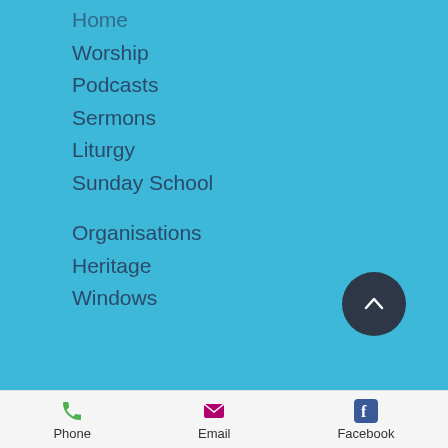Home
Worship
Podcasts
Sermons
Liturgy
Sunday School
Organisations
Heritage
Windows
[Figure (illustration): Dark circular button with upward chevron arrow (back to top button)]
Phone | Email | Facebook